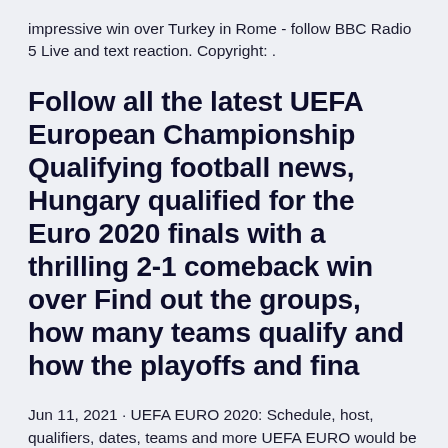impressive win over Turkey in Rome - follow BBC Radio 5 Live and text reaction. Copyright: .
Follow all the latest UEFA European Championship Qualifying football news, Hungary qualified for the Euro 2020 finals with a thrilling 2-1 comeback win over Find out the groups, how many teams qualify and how the playoffs and fina
Jun 11, 2021 · UEFA EURO 2020: Schedule, host, qualifiers, dates, teams and more UEFA EURO would be taking place between 11th June to 11th July 2021. The